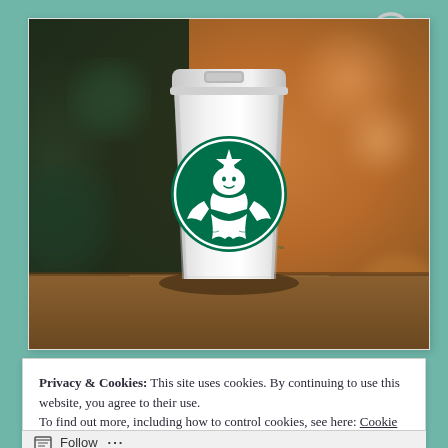[Figure (photo): A white Starbucks to-go cup with the green Starbucks siren logo, sitting on a wooden surface with a blurred warm brown and dark green background (inside a Starbucks store). The cup has a white lid.]
Privacy & Cookies: This site uses cookies. By continuing to use this website, you agree to their use.
To find out more, including how to control cookies, see here: Cookie Policy
Close and accept
Follow